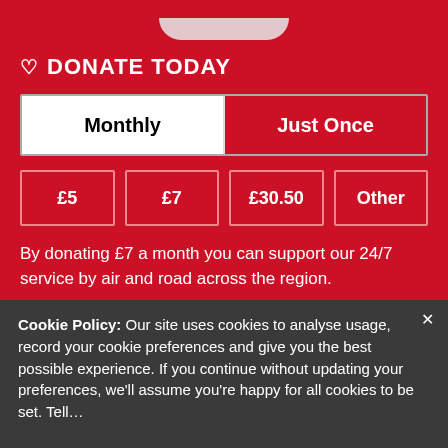♡ DONATE TODAY
Monthly | Just Once
£5 | £7 | £30.50 | Other
By donating £7 a month you can support our 24/7 service by air and road across the region.
Cookie Policy: Our site uses cookies to analyse usage, record your cookie preferences and give you the best possible experience. If you continue without updating your preferences, we'll assume you're happy for all cookies to be set. Tell...